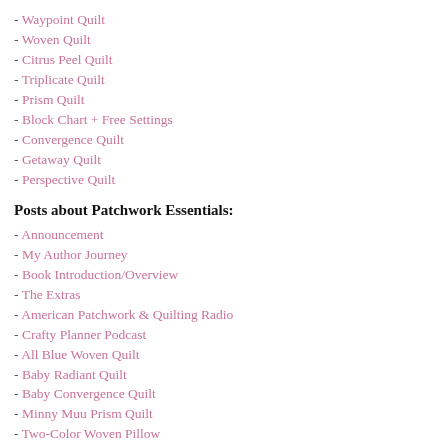- Waypoint Quilt
- Woven Quilt
- Citrus Peel Quilt
- Triplicate Quilt
- Prism Quilt
- Block Chart + Free Settings
- Convergence Quilt
- Getaway Quilt
- Perspective Quilt
Posts about Patchwork Essentials:
- Announcement
- My Author Journey
- Book Introduction/Overview
- The Extras
- American Patchwork & Quilting Radio
- Crafty Planner Podcast
- All Blue Woven Quilt
- Baby Radiant Quilt
- Baby Convergence Quilt
- Minny Muu Prism Quilt
- Two-Color Woven Pillow